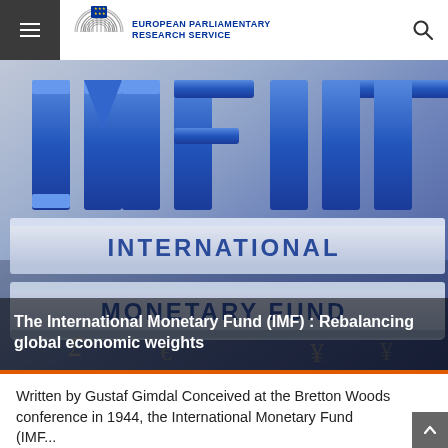European Parliamentary Research Service
[Figure (photo): 3D blue IMF letters spelling out INTERNATIONAL MONETARY FUND on a gray background with currency symbols]
The International Monetary Fund (IMF) : Rebalancing global economic weights
Written by Gustaf Gimdal Conceived at the Bretton Woods conference in 1944, the International Monetary Fund (IMF...